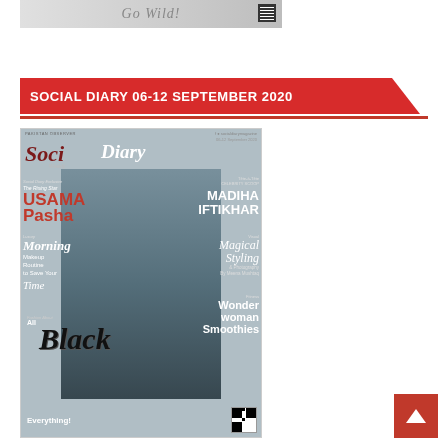[Figure (photo): Top advertisement banner image with text 'Go Wild' and QR code]
SOCIAL DIARY 06-12 SEPTEMBER 2020
[Figure (photo): Social Diary Weekly magazine cover for 06-12 September 2020, featuring Usama Pasha in black velvet blazer, with sections: Celebrity Scoop - Madiha Iftikhar, Morning Makeup Routine to Save Your Time, Magical Styling & Photography by Meena Mushtaq, Wonder Woman Smoothies, All Black Everything, Luxury: Fashion About]